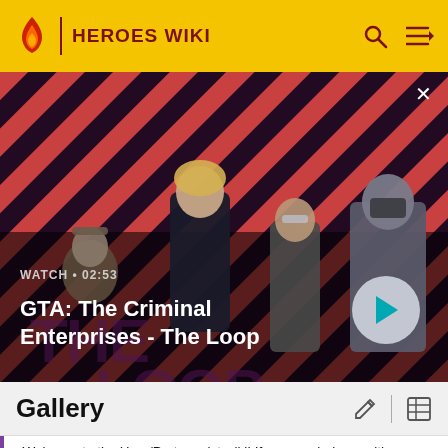HEROES WIKI
[Figure (screenshot): GTA: The Criminal Enterprises - The Loop video thumbnail showing four characters on a striped red and dark background. Text overlay reads WATCH 02:53 and GTA: The Criminal Enterprises - The Loop with a play button.]
Gallery
-Welcome to the Hero/Protagonist wiki! If you can help us with this wiki please sign up and help us! Thanks! -M-NUva